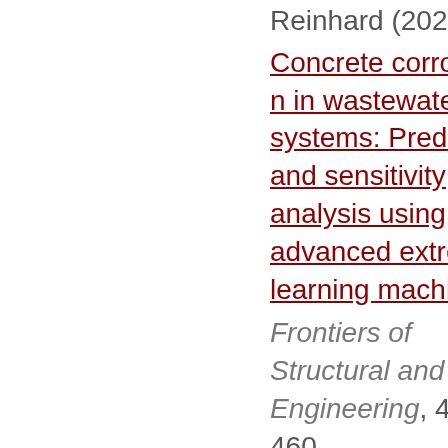Reinhard (2021).
Concrete corrosion in wastewater systems: Prediction and sensitivity analysis using advanced extreme learning machine.
Frontiers of Structural and Civil Engineering, 444-460.
Link to